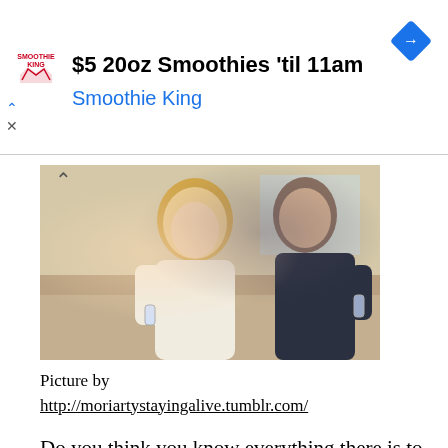[Figure (other): Advertisement banner for Smoothie King: '$5 20oz Smoothies til 11am' with Smoothie King logo and blue diamond navigation icon]
[Figure (photo): A woman and a man sitting on a couch together, both holding wine glasses. The woman has blonde hair and is looking at her phone/glass. The man is in a dark shirt.]
Picture by
http://moriartystayingalive.tumblr.com/
Do you think you know everything there is to know about The Big Bang Theory? Well, try these on for size. I have taken the liberty of rounding up some facts, so let's test your knowledge of the show, as well as the real life